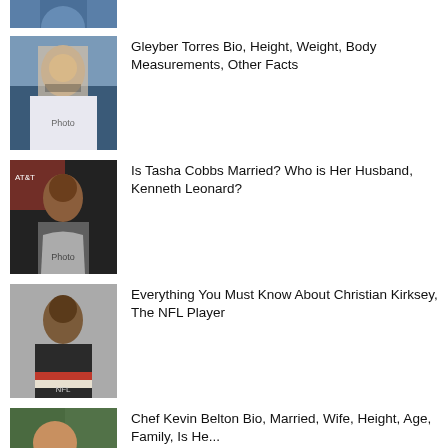[Figure (photo): Partial photo of a baseball player (cropped, top of page)]
[Figure (photo): Photo of Gleyber Torres in Yankees uniform]
Gleyber Torres Bio, Height, Weight, Body Measurements, Other Facts
[Figure (photo): Photo of Tasha Cobbs at an AT&T event]
Is Tasha Cobbs Married? Who is Her Husband, Kenneth Leonard?
[Figure (photo): Photo of Christian Kirksey in NFL Browns uniform]
Everything You Must Know About Christian Kirksey, The NFL Player
[Figure (photo): Photo of Chef Kevin Belton holding a dish]
Chef Kevin Belton Bio, Married, Wife, Height, Age, Family, Is He...
[Figure (photo): Photo of Shannon De Lima (partially cropped)]
Shannon De Lima Wiki, Son, Net Worth, Height, Age, Biography